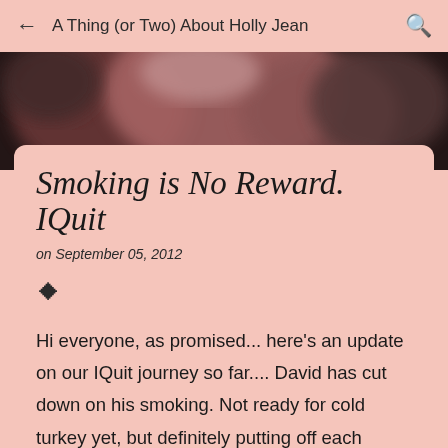A Thing (or Two) About Holly Jean
[Figure (photo): Blurred photo of a person, pink and dark tones, partially visible at top of page]
Smoking is No Reward. IQuit
on September 05, 2012
Hi everyone, as promised... here's an update on our IQuit journey so far.... David has cut down on his smoking. Not ready for cold turkey yet, but definitely putting off each craving for a cigarette and delaying lighting up has helped to halve his daily intake (less than half pack a day now!). I have